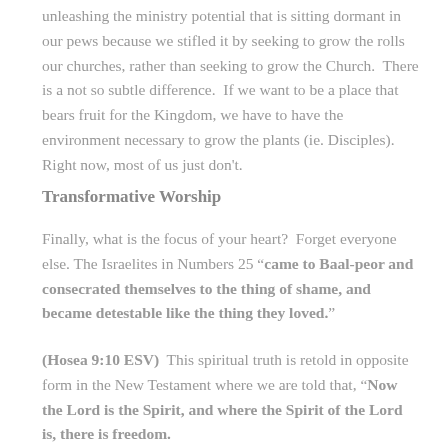unleashing the ministry potential that is sitting dormant in our pews because we stifled it by seeking to grow the rolls our churches, rather than seeking to grow the Church. There is a not so subtle difference. If we want to be a place that bears fruit for the Kingdom, we have to have the environment necessary to grow the plants (ie. Disciples). Right now, most of us just don't.
Transformative Worship
Finally, what is the focus of your heart? Forget everyone else. The Israelites in Numbers 25 "came to Baal-peor and consecrated themselves to the thing of shame, and became detestable like the thing they loved."
(Hosea 9:10 ESV) This spiritual truth is retold in opposite form in the New Testament where we are told that, "Now the Lord is the Spirit, and where the Spirit of the Lord is, there is freedom.